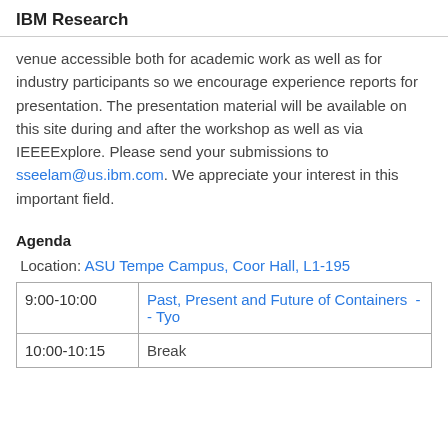IBM Research
venue accessible both for academic work as well as for industry participants so we encourage experience reports for presentation. The presentation material will be available on this site during and after the workshop as well as via IEEEExplore. Please send your submissions to sseelam@us.ibm.com. We appreciate your interest in this important field.
Agenda
Location: ASU Tempe Campus, Coor Hall, L1-195
| Time | Session |
| --- | --- |
| 9:00-10:00 | Past, Present and Future of Containers  -- Tyo... |
| 10:00-10:15 | Break |